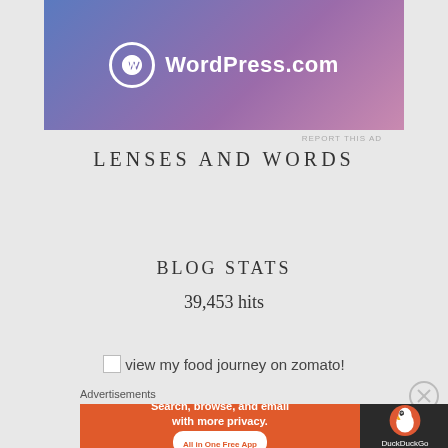[Figure (logo): WordPress.com advertisement banner with gradient blue-to-pink background, WordPress circle logo and WordPress.com text in white]
REPORT THIS AD
LENSES AND WORDS
BLOG STATS
39,453 hits
view my food journey on zomato!
Advertisements
[Figure (screenshot): DuckDuckGo advertisement: orange left panel with 'Search, browse, and email with more privacy. All in One Free App' and dark right panel with DuckDuckGo duck logo and brand name]